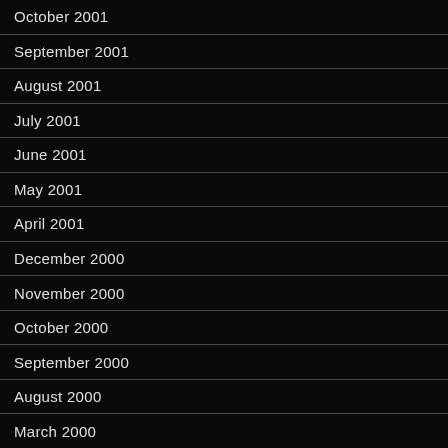October 2001
September 2001
August 2001
July 2001
June 2001
May 2001
April 2001
December 2000
November 2000
October 2000
September 2000
August 2000
March 2000